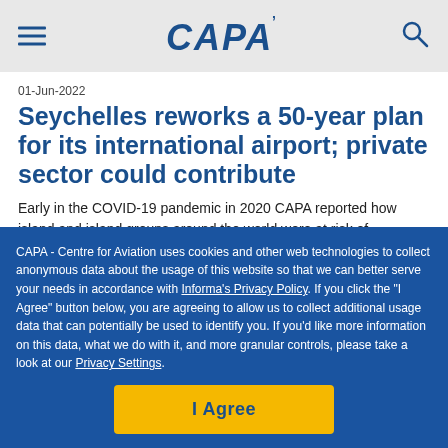CAPA
01-Jun-2022
Seychelles reworks a 50-year plan for its international airport; private sector could contribute
Early in the COVID-19 pandemic in 2020 CAPA reported how island and island groups around the world were at risk of economic shutdown from dealing with the absence…
CAPA - Centre for Aviation uses cookies and other web technologies to collect anonymous data about the usage of this website so that we can better serve your needs in accordance with Informa's Privacy Policy. If you click the "I Agree" button below, you are agreeing to allow us to collect additional usage data that can potentially be used to identify you. If you'd like more information on this data, what we do with it, and more granular controls, please take a look at our Privacy Settings.
I Agree